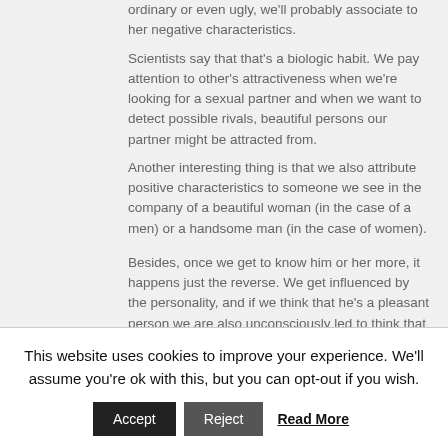ordinary or even ugly, we'll probably associate to her negative characteristics.
Scientists say that that's a biologic habit. We pay attention to other's attractiveness when we're looking for a sexual partner and when we want to detect possible rivals, beautiful persons our partner might be attracted from.
Another interesting thing is that we also attribute positive characteristics to someone we see in the company of a beautiful woman (in the case of a men) or a handsome man (in the case of women).
Besides, once we get to know him or her more, it happens just the reverse. We get influenced by the personality, and if we think that he's a pleasant person we are also unconsciously led to think that
This website uses cookies to improve your experience. We'll assume you're ok with this, but you can opt-out if you wish.